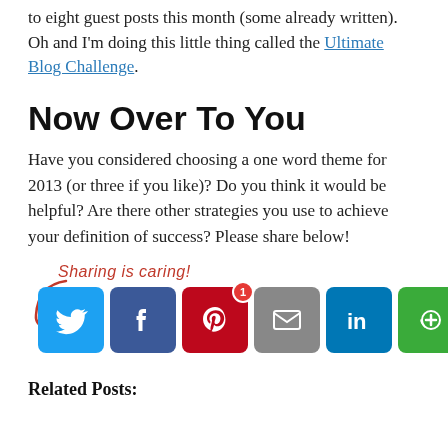to eight guest posts this month (some already written). Oh and I'm doing this little thing called the Ultimate Blog Challenge.
Now Over To You
Have you considered choosing a one word theme for 2013 (or three if you like)? Do you think it would be helpful? Are there other strategies you use to achieve your definition of success? Please share below!
[Figure (infographic): Sharing is caring! social share buttons: Twitter, Facebook, Pinterest (with badge 1), Email, LinkedIn, More]
Related Posts: